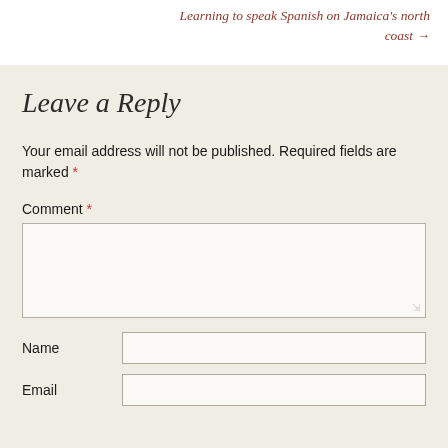Learning to speak Spanish on Jamaica's north coast →
Leave a Reply
Your email address will not be published. Required fields are marked *
Comment *
Name
Email